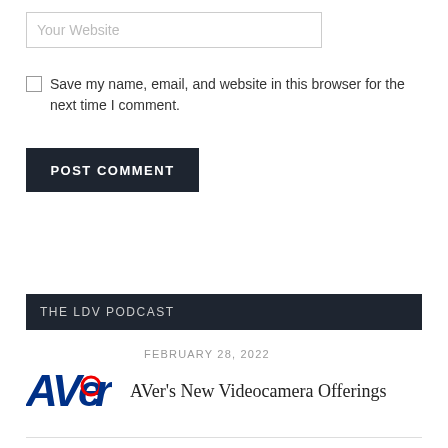Your Website
Save my name, email, and website in this browser for the next time I comment.
POST COMMENT
THE LDV PODCAST
FEBRUARY 28, 2022
[Figure (logo): AVer logo in blue and red]
AVer's New Videocamera Offerings